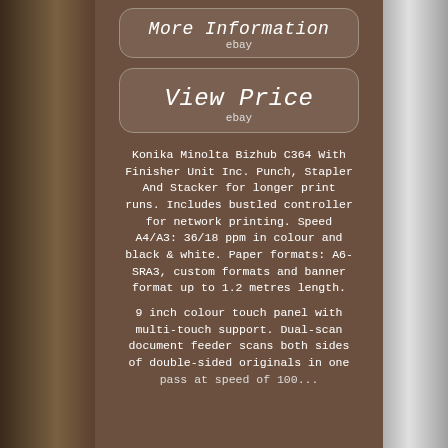[Figure (screenshot): Button with text 'More Information' and 'ebay' label below, rounded rectangle style on brown background]
[Figure (screenshot): Button with text 'View Price' and 'ebay' label below, rounded rectangle style on brown background]
Konika Minolta Bizhub C364 With Finisher Unit Inc. Punch, Stapler And Stacker for longer print runs. Includes bustled controller for network printing. Speed A4/A3: 36/18 ppm in colour and black & white. Paper formats: A6-SRA3, custom formats and banner format up to 1.2 metres length.
9 inch colour touch panel with multi-touch support. Dual-scan document feeder scans both sides of double-sided originals in one